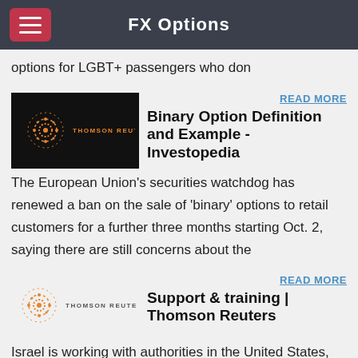FX Options
options for LGBT+ passengers who don
[Figure (logo): Thomson Reuters logo on black background]
READ MORE
Binary Option Definition and Example - Investopedia
The European Union's securities watchdog has renewed a ban on the sale of 'binary' options to retail customers for a further three months starting Oct. 2, saying there are still concerns about the
[Figure (logo): Thomson Reuters logo on light background]
READ MORE
Support & training | Thomson Reuters
Israel is working with authorities in the United States, Britain, France and Belgium to investigate complaints against Israeli firms selling high-risk online options internationally, Israel's